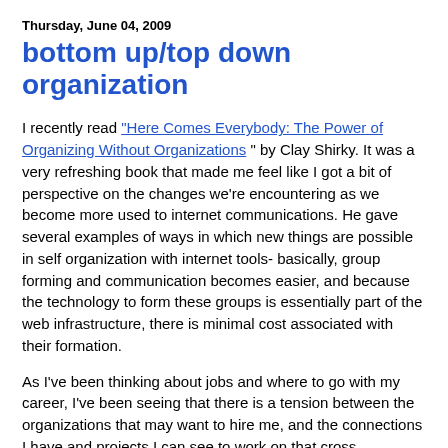Thursday, June 04, 2009
bottom up/top down organization
I recently read "Here Comes Everybody: The Power of Organizing Without Organizations" by Clay Shirky. It was a very refreshing book that made me feel like I got a bit of perspective on the changes we're encountering as we become more used to internet communications. He gave several examples of ways in which new things are possible in self organization with internet tools- basically, group forming and communication becomes easier, and because the technology to form these groups is essentially part of the web infrastructure, there is minimal cost associated with their formation.
As I've been thinking about jobs and where to go with my career, I've been seeing that there is a tension between the organizations that may want to hire me, and the connections I have and projects I can see to work on that cross organizational boundaries. I see the field of accelerator physics and how fragmented it is, and think that the internet could really facilitate some formation of commonality. At the